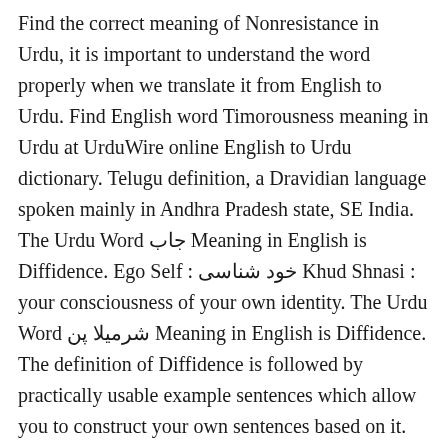Find the correct meaning of Nonresistance in Urdu, it is important to understand the word properly when we translate it from English to Urdu. Find English word Timorousness meaning in Urdu at UrduWire online English to Urdu dictionary. Telugu definition, a Dravidian language spoken mainly in Andhra Pradesh state, SE India. The Urdu Word حجاب Meaning in English is Diffidence. Ego Self : خود شناسی Khud Shnasi : your consciousness of your own identity. The Urdu Word شرمیلا پن Meaning in English is Diffidence. The definition of Diffidence is followed by practically usable example sentences which allow you to construct your own sentences based on it. شبہ - Shubah Definitions. Noun. Explore Urdupoint dictionary to find out more meanings, definitions, synonyms and antonyms of the word Diffidence. Diffidence All of this may seem less if you